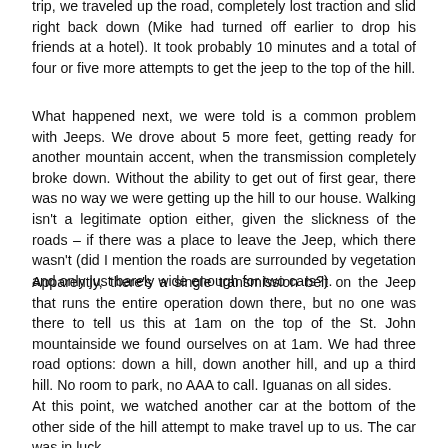trip, we traveled up the road, completely lost traction and slid right back down (Mike had turned off earlier to drop his friends at a hotel). It took probably 10 minutes and a total of four or five more attempts to get the jeep to the top of the hill.
What happened next, we were told is a common problem with Jeeps. We drove about 5 more feet, getting ready for another mountain accent, when the transmission completely broke down. Without the ability to get out of first gear, there was no way we were getting up the hill to our house. Walking isn't a legitimate option either, given the slickness of the roads – if there was a place to leave the Jeep, which there wasn't (did I mention the roads are surrounded by vegetation and only just barely wide enough for two cars?).
Apparently, there's a single transmission belt on the Jeep that runs the entire operation down there, but no one was there to tell us this at 1am on the top of the St. John mountainside we found ourselves on at 1am. We had three road options: down a hill, down another hill, and up a third hill. No room to park, no AAA to call. Iguanas on all sides.
At this point, we watched another car at the bottom of the other side of the hill attempt to make travel up to us. The car was in luck with some help despite thirteen. So labeled help and wait to we know